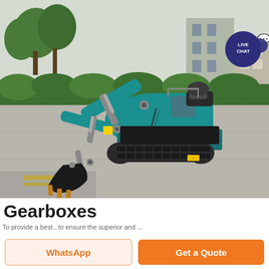[Figure (photo): A teal/turquoise mini excavator with black rubber tracks and black bucket, parked on a concrete surface in front of green hedges and buildings. A 'LIVE CHAT' speech bubble overlay appears in the upper right corner.]
Gearboxes
To provide a best...to ensure the superior and ...
WhatsApp
Get a Quote